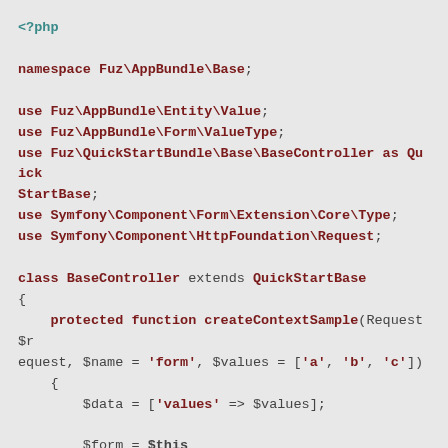[Figure (screenshot): PHP source code snippet showing a namespace declaration, use statements importing Fuz and Symfony classes, and the beginning of a BaseController class extending QuickStartBase with a protected createContextSample method.]